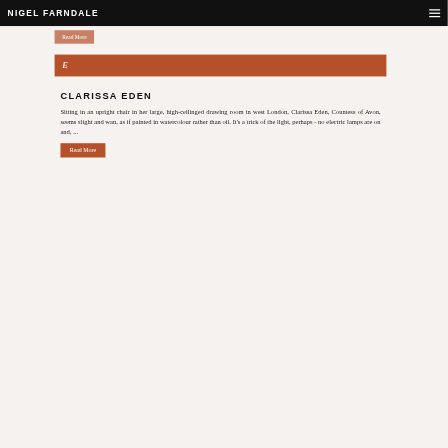NIGEL FARNDALE
Read More
E
CLARISSA EDEN
Sitting in an upright chair in her large, high-ceilinged drawing room in west London, Clarissa Eden, Countess of Avon, seems slight and wan, as if painted in watercolour rather than oil. It's a trick of the light, perhaps - no electric lamps are on and, ...
Read More